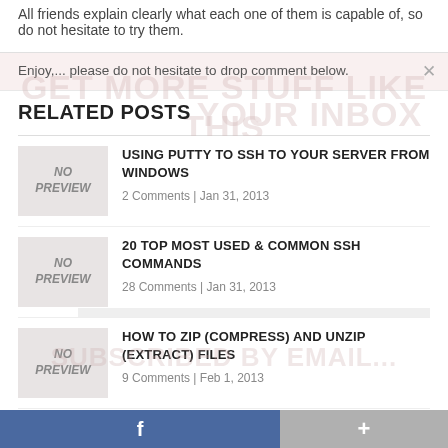All friends explain clearly what each one of them is capable of, so do not hesitate to try them.
Enjoy,... please do not hesitate to drop comment below.
RELATED POSTS
USING PUTTY TO SSH TO YOUR SERVER FROM WINDOWS
2 Comments | Jan 31, 2013
20 TOP MOST USED & COMMON SSH COMMANDS
28 Comments | Jan 31, 2013
HOW TO ZIP (COMPRESS) AND UNZIP (EXTRACT) FILES
9 Comments | Feb 1, 2013
BASIC UBUNTU SETUP BEFORE BUILDING A